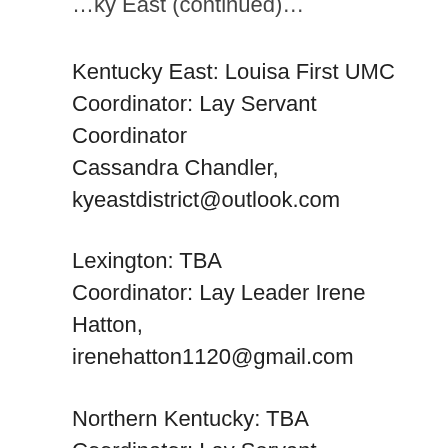…Kentucky East (continued)…
Kentucky East: Louisa First UMC
Coordinator: Lay Servant Coordinator
Cassandra Chandler,
kyeastdistrict@outlook.com
Lexington: TBA
Coordinator: Lay Leader Irene Hatton,
irenehatton1120@gmail.com
Northern Kentucky: TBA
Coordinator: Lay Servant Coordinator Rev…